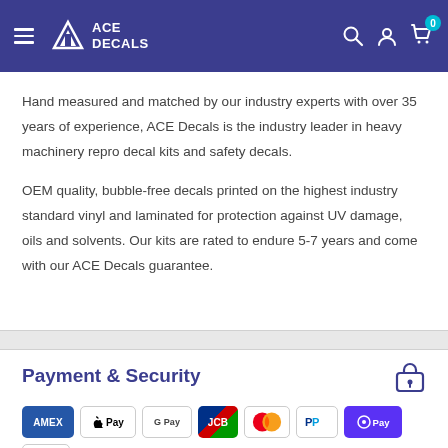ACE DECALS
Hand measured and matched by our industry experts with over 35 years of experience, ACE Decals is the industry leader in heavy machinery repro decal kits and safety decals.
OEM quality, bubble-free decals printed on the highest industry standard vinyl and laminated for protection against UV damage, oils and solvents. Our kits are rated to endure 5-7 years and come with our ACE Decals guarantee.
Payment & Security